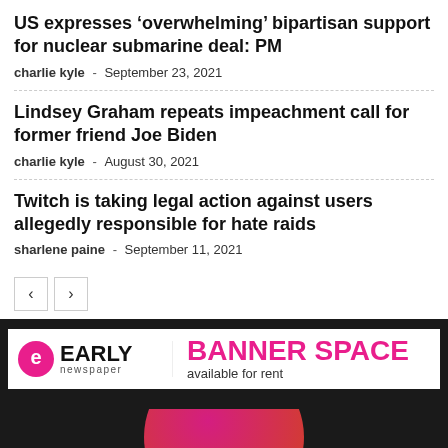US expresses ‘overwhelming’ bipartisan support for nuclear submarine deal: PM
charlie kyle - September 23, 2021
Lindsey Graham repeats impeachment call for former friend Joe Biden
charlie kyle - August 30, 2021
Twitch is taking legal action against users allegedly responsible for hate raids
sharlene paine - September 11, 2021
[Figure (logo): Early newspaper logo with banner space advertisement]